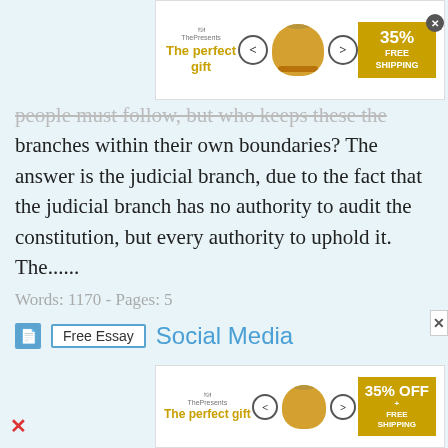[Figure (screenshot): Advertisement banner at top: 'The perfect gift' with food pot image, navigation arrows, and 35% FREE SHIPPING badge]
people must follow, but who keeps these the branches within their own boundaries? The answer is the judicial branch, due to the fact that the judicial branch has no authority to audit the constitution, but every authority to uphold it. The......
Words: 1170 - Pages: 5
Social Media
Free Essay
...Assignment 1: Social Media Medina 1 Prof: LEG 100: Business Law 1 July 25, 2013 Medina 2 A few years ago I jumped on the social media bandwagon after being introduced to it by my father. I was always a little skeptical about social media because of all negative that I had heard about it. Now, I love it because there is a lot of positive about social media
[Figure (screenshot): Advertisement banner at bottom: 'The perfect gift' with food pot image, navigation arrows, and 35% OFF FREE SHIPPING badge]